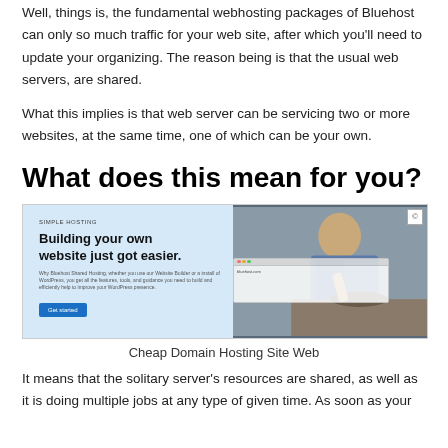Well, things is, the fundamental webhosting packages of Bluehost can only so much traffic for your web site, after which you'll need to update your organizing. The reason being is that the usual web servers, are shared.
What this implies is that web server can be servicing two or more websites, at the same time, one of which can be your own.
What does this mean for you?
[Figure (screenshot): Screenshot of a web hosting promotional page showing 'Building your own website just got easier.' with a man cooking on the right side]
Cheap Domain Hosting Site Web
It means that the solitary server's resources are shared, as well as it is doing multiple jobs at any type of given time. As soon as your